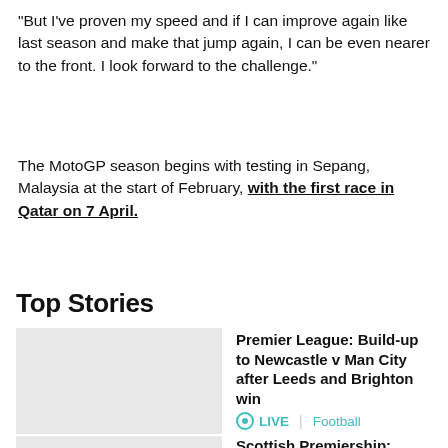"But I've proven my speed and if I can improve again like last season and make that jump again, I can be even nearer to the front. I look forward to the challenge."
The MotoGP season begins with testing in Sepang, Malaysia at the start of February, with the first race in Qatar on 7 April.
Top Stories
Premier League: Build-up to Newcastle v Man City after Leeds and Brighton win
LIVE | Football
Scottish Premiership: Celtic 1-0 Hearts – who